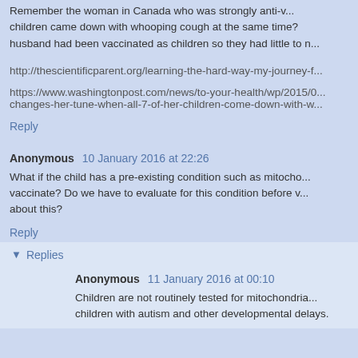Remember the woman in Canada who was strongly anti-v... children came down with whooping cough at the same time? husband had been vaccinated as children so they had little to n...
http://thescientificparent.org/learning-the-hard-way-my-journey-f...
https://www.washingtonpost.com/news/to-your-health/wp/2015/0... changes-her-tune-when-all-7-of-her-children-come-down-with-w...
Reply
Anonymous 10 January 2016 at 22:26
What if the child has a pre-existing condition such as mitocho... vaccinate? Do we have to evaluate for this condition before v... about this?
Reply
Replies
Anonymous 11 January 2016 at 00:10
Children are not routinely tested for mitochondria... children with autism and other developmental delays.